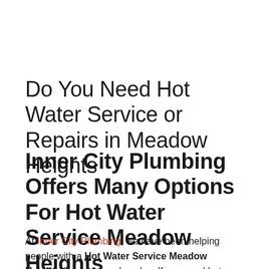Do You Need Hot Water Service or Repairs in Meadow Heights
Inner City Plumbing Offers Many Options For Hot Water Service Meadow Heights
At Inner City Plumbing, we have been helping people with a Hot Water Service Meadow Heights for over two decades. If you need hot water service replaced or